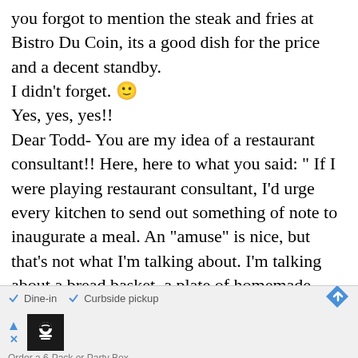you forgot to mention the steak and fries at Bistro Du Coin, its a good dish for the price and a decent standby.
I didn't forget. 🙂
Yes, yes, yes!!
Dear Todd- You are my idea of a restaurant consultant!! Here, here to what you said: " If I were playing restaurant consultant, I'd urge every kitchen to send out something of note to inaugurate a meal. An "amuse" is nice, but that's not what I'm talking about. I'm talking about a bread basket, a plate of homemade pickles — something, anything that smacks of generosity and establishes something of the identity of
[Figure (other): Advertisement banner showing a restaurant/food delivery service with checkmarks for 'Dine-in' and 'Curbside pickup', a chef icon, navigation arrows, and text 'Order a 6-Pack or Party Box']